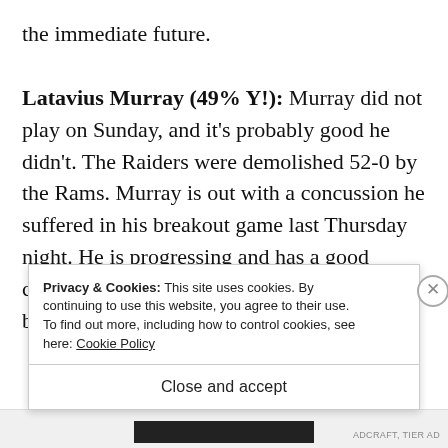the immediate future.

Latavius Murray (49% Y!): Murray did not play on Sunday, and it's probably good he didn't. The Raiders were demolished 52-0 by the Rams. Murray is out with a concussion he suffered in his breakout game last Thursday night. He is progressing and has a good chance to be ready for Sunday. Murray will be worth a look this week, but be aware that
Privacy & Cookies: This site uses cookies. By continuing to use this website, you agree to their use.
To find out more, including how to control cookies, see here: Cookie Policy
Close and accept